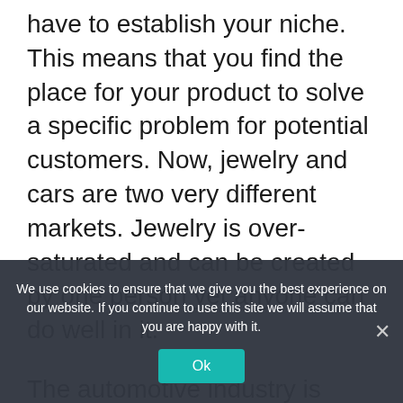have to establish your niche. This means that you find the place for your product to solve a specific problem for potential customers. Now, jewelry and cars are two very different markets. Jewelry is over-saturated and can be created by one person yet anyone can do well in it.
The automotive industry is entirely different, and Tesla is a unique case study for any marketing class since it was able to identify a problem in this market and meet a specific goal: creating an EV and bringing it to
We use cookies to ensure that we give you the best experience on our website. If you continue to use this site we will assume that you are happy with it.